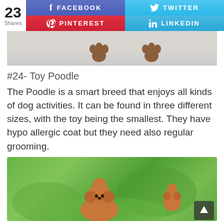[Figure (infographic): Social share bar with 23 Shares count, Facebook (blue), Twitter (light blue), Pinterest (red), LinkedIn (blue) buttons]
[Figure (photo): Top portion showing dog paws against white background]
#24- Toy Poodle
The Poodle is a smart breed that enjoys all kinds of dog activities. It can be found in three different sizes, with the toy being the smallest. They have hypo allergic coat but they need also regular grooming.
[Figure (photo): Photo of a small orange/apricot toy poodle puppy outdoors on green grass background]